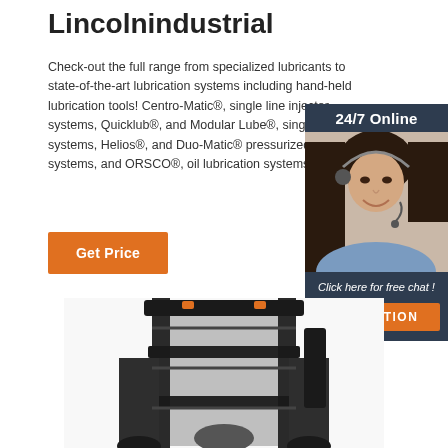Lincolnindustrial
Check-out the full range from specialized lubricants to state-of-the-art lubrication systems including hand-held lubrication tools! Centro-Matic®, single line injector systems, Quicklub®, and Modular Lube®, single progressive systems, Helios®, and Duo-Matic® pressurized two-line systems, and ORSCO®, oil lubrication systems
[Figure (illustration): Customer service representative with headset, smiling, shown in a dark navy widget panel with '24/7 Online' text at top, 'Click here for free chat!' text, and a QUOTATION orange button.]
[Figure (photo): Forklift vehicle photographed from the front, showing the frame and mast structure, partially cropped at bottom of page.]